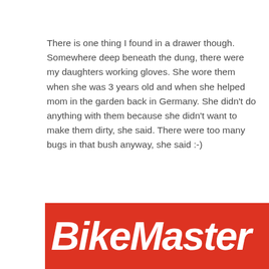There is one thing I found in a drawer though. Somewhere deep beneath the dung, there were my daughters working gloves. She wore them when she was 3 years old and when she helped mom in the garden back in Germany. She didn't do anything with them because she didn't want to make them dirty, she said. There were too many bugs in that bush anyway, she said :-)
These gloves will never ever leave me!
#contimotousa #bikemaster
Headcoach Can Akkaya, Superbike-Coach Corp
[Figure (logo): BikeMaster logo — white italic bold text on a red background]